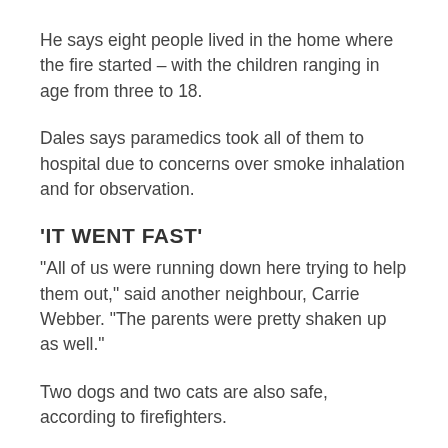He says eight people lived in the home where the fire started – with the children ranging in age from three to 18.
Dales says paramedics took all of them to hospital due to concerns over smoke inhalation and for observation.
'IT WENT FAST'
"All of us were running down here trying to help them out," said another neighbour, Carrie Webber. "The parents were pretty shaken up as well."
Two dogs and two cats are also safe, according to firefighters.